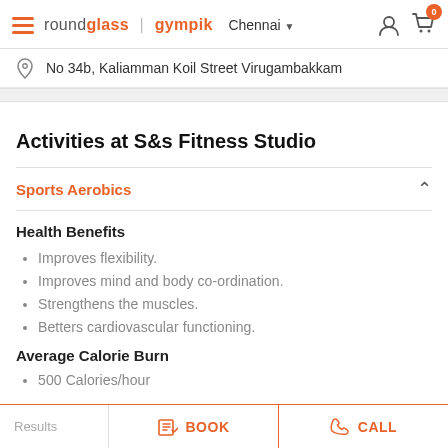roundglass | gympik  Chennai  [icons]
No 34b, Kaliamman Koil Street Virugambakkam
Activities at S&s Fitness Studio
Sports Aerobics
Health Benefits
Improves flexibility.
Improves mind and body co-ordination.
Strengthens the muscles.
Betters cardiovascular functioning.
Average Calorie Burn
500 Calories/hour
Results  BOOK  CALL